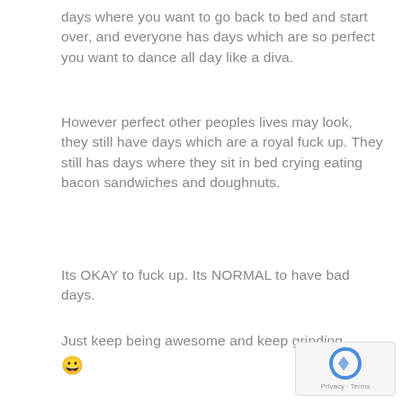days where you want to go back to bed and start over, and everyone has days which are so perfect you want to dance all day like a diva.
However perfect other peoples lives may look, they still have days which are a royal fuck up. They still has days where they sit in bed crying eating bacon sandwiches and doughnuts.
Its OKAY to fuck up. Its NORMAL to have bad days.
Just keep being awesome and keep grinding 😀
[Figure (logo): reCAPTCHA logo with Privacy and Terms text]